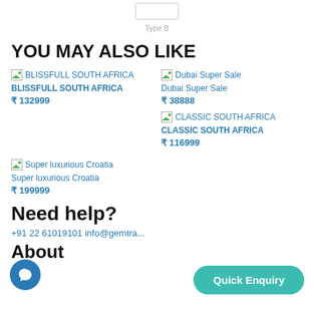Type B
YOU MAY ALSO LIKE
BLISSFULL SOUTH AFRICA
BLISSFULL SOUTH AFRICA
₹ 132999
Dubai Super Sale
Dubai Super Sale
₹ 38888
CLASSIC SOUTH AFRICA
CLASSIC SOUTH AFRICA
₹ 116999
Super luxurious Croatia
Super luxurious Croatia
₹ 199999
Need help?
+91 22 61019101  info@gemtra...
About